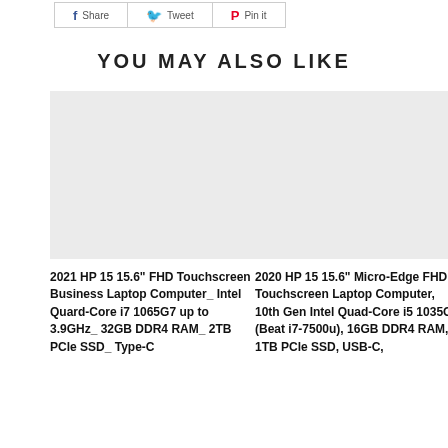[Figure (other): Social share buttons: Facebook, Twitter, Pinterest]
YOU MAY ALSO LIKE
[Figure (photo): Product image placeholder for 2021 HP 15 laptop]
2021 HP 15 15.6" FHD Touchscreen Business Laptop Computer_ Intel Quard-Core i7 1065G7 up to 3.9GHz_ 32GB DDR4 RAM_ 2TB PCle SSD_ Type-C
[Figure (photo): Product image placeholder for 2020 HP 15 laptop]
2020 HP 15 15.6" Micro-Edge FHD Touchscreen Laptop Computer, 10th Gen Intel Quad-Core i5 1035G1 (Beat i7-7500u), 16GB DDR4 RAM, 1TB PCle SSD, USB-C,